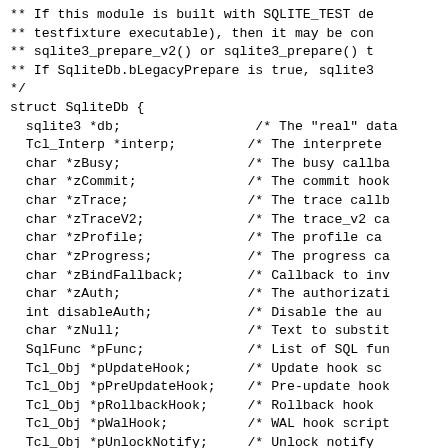** If this module is built with SQLITE_TEST de** testfixture executable), then it may be con** sqlite3_prepare_v2() or sqlite3_prepare() t** If SqliteDb.bLegacyPrepare is true, sqlite3*/
struct SqliteDb {
  sqlite3 *db;                    /* The "real" data  Tcl_Interp *interp;             /* The interprete  char *zBusy;                    /* The busy callb  char *zCommit;                  /* The commit hoo  char *zTrace;                   /* The trace call  char *zTraceV2;                 /* The trace_v2 c  char *zProfile;                 /* The profile ca  char *zProgress;               /* The progress c  char *zBindFallback;           /* Callback to in  char *zAuth;                   /* The authorizat  int disableAuth;               /* Disable the au  char *zNull;                   /* Text to substi  SqlFunc *pFunc;                /* List of SQL fu  Tcl_Obj *pUpdateHook;          /* Update hook sc  Tcl_Obj *pPreUpdateHook;       /* Pre-update hoo  Tcl_Obj *pRollbackHook;        /* Rollback hook   Tcl_Obj *pWalHook;             /* WAL hook scrip  Tcl_Obj *pUnlockNotify;        /* Unlock notify   SqlCollate *pCollate;          /* List of SQL co  int rc;                        /* Return code of  Tcl_Obj *pCollateNeeded;       /* Collation need  SqlPreparedStmt *stmtList;     /* List of prepare  SqlPreparedStmt *stmtList;     /* Last of prepare